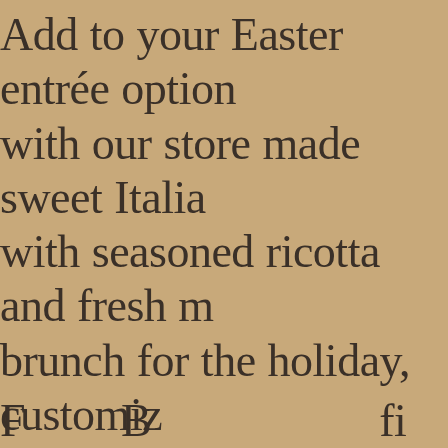Add to your Easter entrée options with our store made sweet Italian with seasoned ricotta and fresh mozzarella brunch for the holiday, customize your Brunch! From starters to desserts, categories, including salad, quiche, salmon, and more for your whole family.